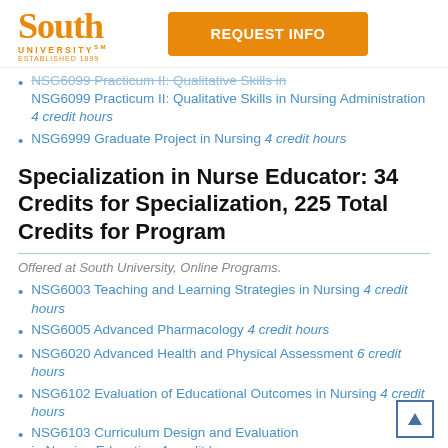South University | REQUEST INFO
NSG6099 Practicum II: Qualitative Skills in Nursing Administration 4 credit hours
NSG6999 Graduate Project in Nursing 4 credit hours
Specialization in Nurse Educator: 34 Credits for Specialization, 225 Total Credits for Program
Offered at South University, Online Programs.
NSG6003 Teaching and Learning Strategies in Nursing 4 credit hours
NSG6005 Advanced Pharmacology 4 credit hours
NSG6020 Advanced Health and Physical Assessment 6 credit hours
NSG6102 Evaluation of Educational Outcomes in Nursing 4 credit hours
NSG6103 Curriculum Design and Evaluation in Nursing Education 4 credit hours